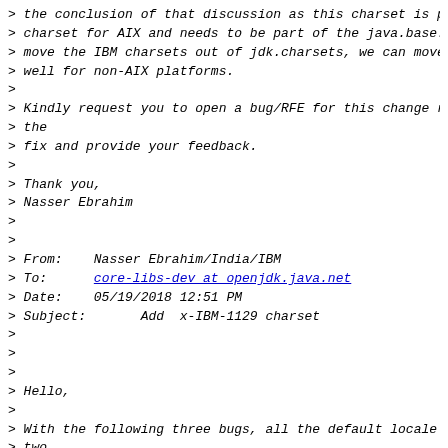> the conclusion of that discussion as this charset is pa
> charset for AIX and needs to be part of the java.base.
> move the IBM charsets out of jdk.charsets, we can move
> well for non-AIX platforms.
>
> Kindly request you to open a bug/RFE for this change re
> the
> fix and provide your feedback.
>
> Thank you,
> Nasser Ebrahim
>
>
> From:   Nasser Ebrahim/India/IBM
> To:     core-libs-dev at openjdk.java.net
> Date:   05/19/2018 12:51 PM
> Subject:      Add  x-IBM-1129 charset
>
>
>
> Hello,
>
> With the following three bugs, all the default locale c
> two
> (Vi_VN.IBM-1129 & ja_JP.IBM-eucJP) are fixed for AIX p.
>
> - JDK-8201540: [AIX] Extend the set of supported charse
> - JDK-8202329: Codepage mappings for IBM-943 and Big5 (
> -
>